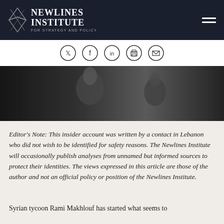[Figure (logo): Newlines Institute for Strategy and Policy logo with compass/arrow icon on dark navy background header bar]
[Figure (infographic): Social sharing icons: Twitter, Facebook, LinkedIn, Print, Email — circular outlined icons on white bar]
[Figure (photo): Black and white photograph of two men, appears to be a historical photo, used as hero image]
Editor's Note: This insider account was written by a contact in Lebanon who did not wish to be identified for safety reasons. The Newlines Institute will occasionally publish analyses from unnamed but informed sources to protect their identities. The views expressed in this article are those of the author and not an official policy or position of the Newlines Institute.
Syrian tycoon Rami Makhlouf has started what seems to